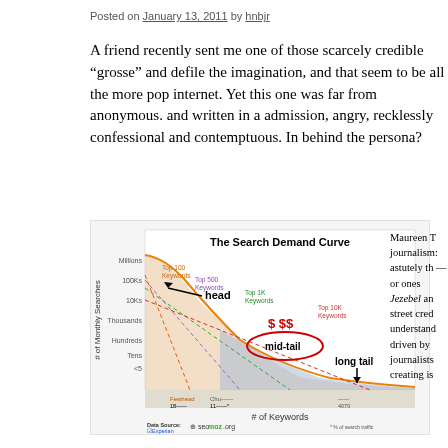Posted on January 13, 2011 by hnbjr
A friend recently sent me one of those scarcely credible “grosse” and defile the imagination, and that seem to be all the more pop internet. Yet this one was far from anonymous. and written in a admission, angry, recklessly confessional and contemptuous. In behind the persona?
[Figure (continuous-plot): The Search Demand Curve chart from SEOMoz/Experian showing # of Monthly Searches vs # of Keywords, with annotations: head (arrow), mid-tail (circled in red with $$$ above), long tail. Dashed lines for Top 100, Top 500, Top 1K, Top 10K Keywords.]
Maureen T journalism: astutely th — or ones Jezebel an street cred understand driven by journalists creating is